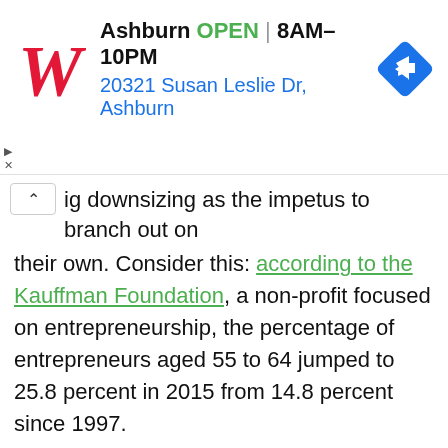[Figure (screenshot): Walgreens advertisement banner showing store location in Ashburn, OPEN 8AM-10PM, address 20321 Susan Leslie Dr, Ashburn, with Walgreens logo and navigation arrow icon]
ig downsizing as the impetus to branch out on their own. Consider this: according to the Kauffman Foundation, a non-profit focused on entrepreneurship, the percentage of entrepreneurs aged 55 to 64 jumped to 25.8 percent in 2015 from 14.8 percent since 1997.
Although age doesn't determine success, time considering an endeavor can. The last thing you want to do is launch a business because you feel forced to for whatever reason. Lots of people will take the leap solely because they hate their job,